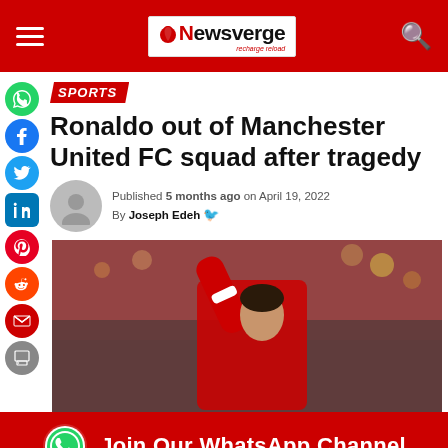Newsverge
SPORTS
Ronaldo out of Manchester United FC squad after tragedy
Published 5 months ago on April 19, 2022
By Joseph Edeh
[Figure (photo): Cristiano Ronaldo in a red Manchester United jersey raising his fist to a crowd of fans in a stadium]
Join Our WhatsApp Channel
NSE STOCK: